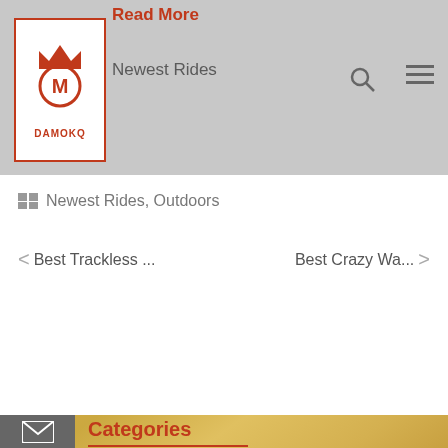Read More
Newest Rides
[Figure (logo): DAMOKQ logo - red crown and shield emblem with DAMOKQ text]
Newest Rides, Outdoors
< Best Trackless ...    Best Crazy Wa... >
Categories
Qs
loors
Newest Rides
News
Outdoors
Project Show